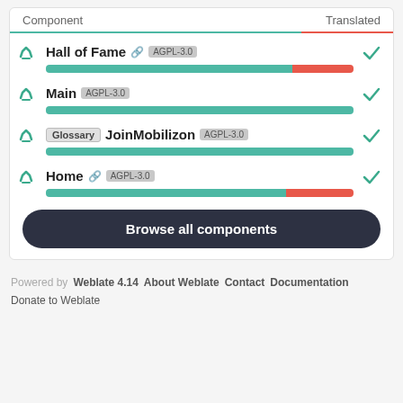| Component | Translated |
| --- | --- |
| Hall of Fame [link] AGPL-3.0 | ✓ |
| Main AGPL-3.0 | ✓ |
| Glossary JoinMobilizon AGPL-3.0 | ✓ |
| Home [link] AGPL-3.0 | ✓ |
Browse all components
Powered by Weblate 4.14   About Weblate   Contact   Documentation
Donate to Weblate